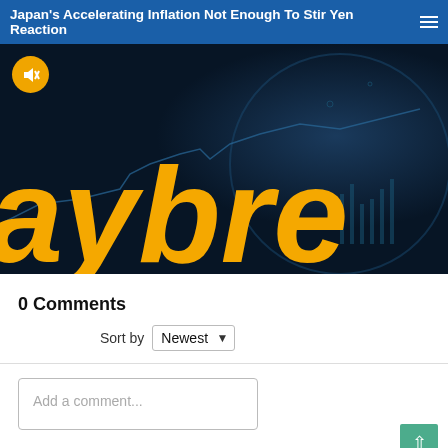Japan's Accelerating Inflation Not Enough To Stir Yen Reaction
[Figure (screenshot): Video thumbnail showing a dark financial chart background with large yellow italic text reading 'aybre' (partial 'Daybreak'), with a yellow mute button in the top left corner.]
0 Comments
Sort by Newest
Add a comment...